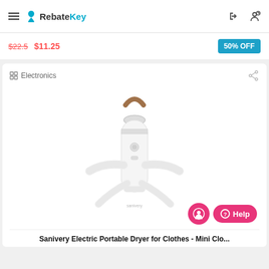RebateKey
$22.5 $11.25
50% OFF
Electronics
[Figure (photo): Sanivery Electric Portable Dryer for Clothes - a white handheld compact clothes dryer with fold-out arms and a tan leather hanging strap]
Help
Sanivery Electric Portable Dryer for Clothes - Mini Clo...